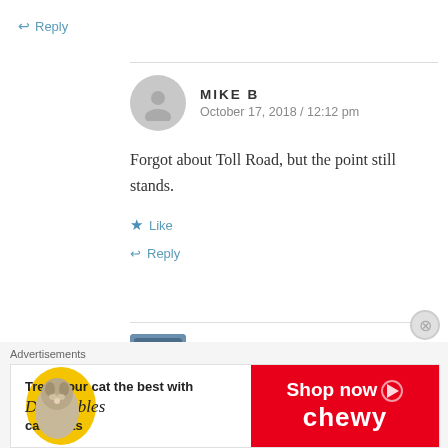↩ Reply
MIKE B
October 17, 2018 / 12:12 pm
Forgot about Toll Road, but the point still stands.
★ Like
↩ Reply
COLLIN
October 17, 2018 / 12:51 pm
Advertisements
[Figure (infographic): Chewy advertisement banner: 'Treat your cat the best with Delectables cat treats — Shop now chewy' with yellow circle graphic and cat photo on red background]